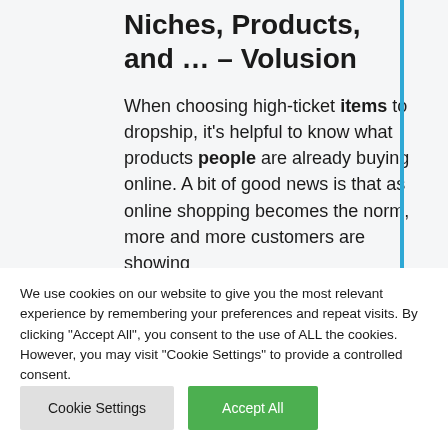Niches, Products, and … – Volusion
When choosing high-ticket items to dropship, it's helpful to know what products people are already buying online. A bit of good news is that as online shopping becomes the norm, more and more customers are showing
We use cookies on our website to give you the most relevant experience by remembering your preferences and repeat visits. By clicking "Accept All", you consent to the use of ALL the cookies. However, you may visit "Cookie Settings" to provide a controlled consent.